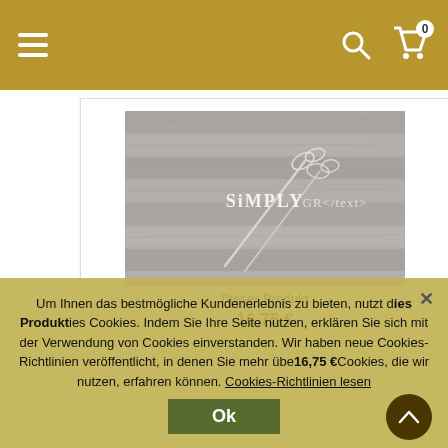Navigation bar with hamburger menu, search icon, and cart (0)
[Figure (screenshot): Product image showing metallic flower/hair pins on gray wood background with 'Simply' brand logo watermark, in grayscale]
Dieses Produkt
16,75 €
Um Ihnen das bestmögliche Kundenerlebnis zu bieten, nutzt diese Seite Cookies. Indem Sie Ihre Seite nutzen, erklären Sie sich mit der Verwendung von Cookies einverstanden. Wir haben neue Cookies-Richtlinien veröffentlicht, in denen Sie mehr über die Cookies, die wir nutzen, erfahren können. Cookies-Richtlinien lesen
Ok